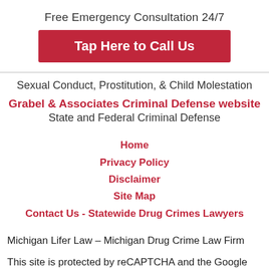Free Emergency Consultation 24/7
Tap Here to Call Us
Sexual Conduct, Prostitution, & Child Molestation
Grabel & Associates Criminal Defense website
State and Federal Criminal Defense
Home
Privacy Policy
Disclaimer
Site Map
Contact Us - Statewide Drug Crimes Lawyers
Michigan Lifer Law – Michigan Drug Crime Law Firm
This site is protected by reCAPTCHA and the Google